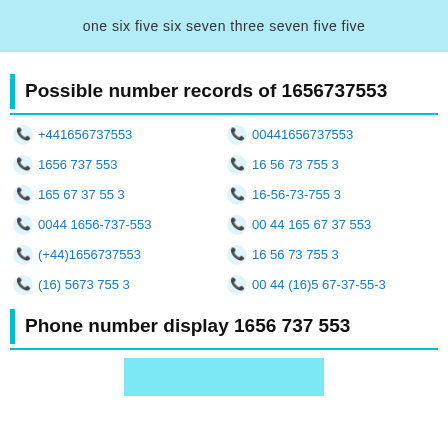one six five six seven three seven five five
Possible number records of 1656737553
+441656737553
00441656737553
1656 737 553
16 56 73 755 3
165 67 37 55 3
16-56-73-755 3
0044 1656-737-553
00 44 165 67 37 553
(+44)1656737553
16 56 73 755 3
(16) 5673 755 3
00 44 (16)5 67-37-55-3
Phone number display 1656 737 553